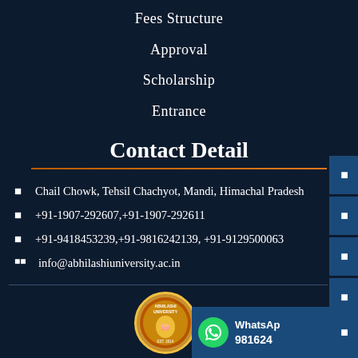Fees Structure
Approval
Scholarship
Entrance
Contact Detail
🏠 Chail Chowk, Tehsil Chachyot, Mandi, Himachal Pradesh
📞 +91-1907-292607,+91-1907-292611
📞 +91-9418453239,+91-9816242139, +91-9129500063
✉ info@abhilashiuniversity.ac.in
WhatsApp 981624...